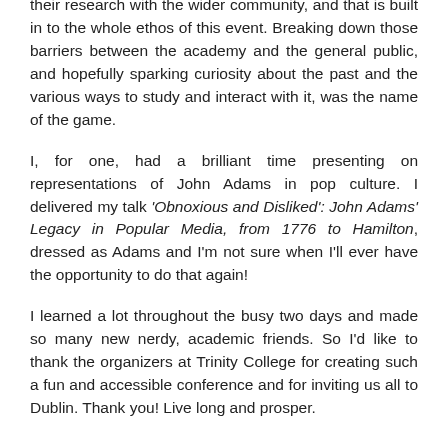their research with the wider community, and that is built in to the whole ethos of this event. Breaking down those barriers between the academy and the general public, and hopefully sparking curiosity about the past and the various ways to study and interact with it, was the name of the game.
I, for one, had a brilliant time presenting on representations of John Adams in pop culture. I delivered my talk 'Obnoxious and Disliked': John Adams' Legacy in Popular Media, from 1776 to Hamilton, dressed as Adams and I'm not sure when I'll ever have the opportunity to do that again!
I learned a lot throughout the busy two days and made so many new nerdy, academic friends. So I'd like to thank the organizers at Trinity College for creating such a fun and accessible conference and for inviting us all to Dublin. Thank you! Live long and prosper.